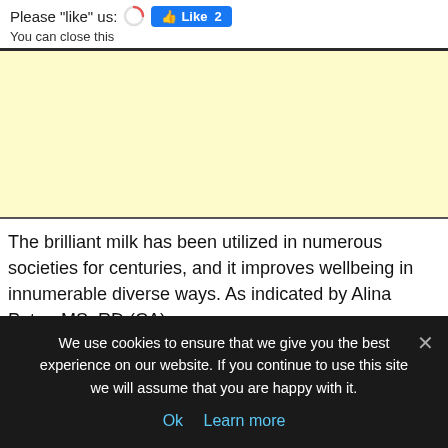Please "like" us:  Like 2
You can close this
[Figure (other): Yellow/cream colored advertisement banner area]
The brilliant milk has been utilized in numerous societies for centuries, and it improves wellbeing in innumerable diverse ways. As indicated by Alina Petre, MS, RD (CA):
“Brilliant milk — otherwise called turmeric milk — is an Indian beverage that has been picking up prevalence in Western societies
We use cookies to ensure that we give you the best experience on our website. If you continue to use this site we will assume that you are happy with it.
Ok  Learn more